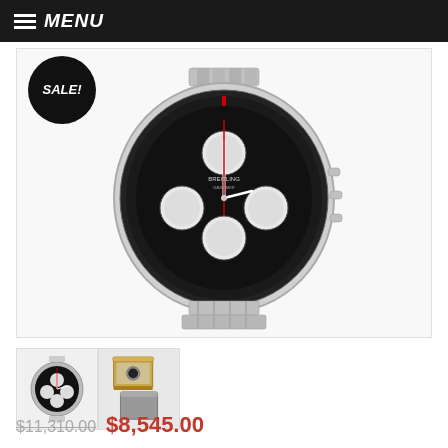MENU
[Figure (photo): Breitling Navitimer chronograph watch with black dial, silver sub-dials, tachymeter bezel, and stainless steel bracelet. SALE! badge overlaid top-left.]
[Figure (photo): Thumbnail 1: Breitling Navitimer watch front view, small]
[Figure (photo): Thumbnail 2: Breitling watch box and accessories]
$11,310.00 $8,545.00